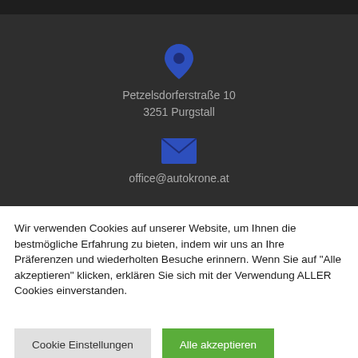Petzelsdorferstraße 10
3251 Purgstall
office@autokrone.at
Wir verwenden Cookies auf unserer Website, um Ihnen die bestmögliche Erfahrung zu bieten, indem wir uns an Ihre Präferenzen und wiederholten Besuche erinnern. Wenn Sie auf "Alle akzeptieren" klicken, erklären Sie sich mit der Verwendung ALLER Cookies einverstanden.
Cookie Einstellungen
Alle akzeptieren